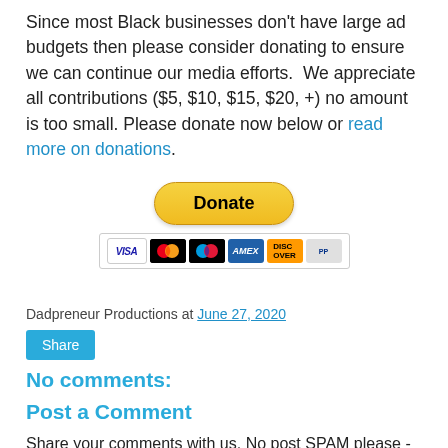Since most Black businesses don't have large ad budgets then please consider donating to ensure we can continue our media efforts.  We appreciate all contributions ($5, $10, $15, $20, +) no amount is too small. Please donate now below or read more on donations.
[Figure (other): PayPal Donate button with payment icons (Visa, Mastercard, Maestro, American Express, Discover, PayPal)]
Dadpreneur Productions at June 27, 2020
Share
No comments:
Post a Comment
Share your comments with us. No post SPAM please - it will be deleted. Only real comments please.